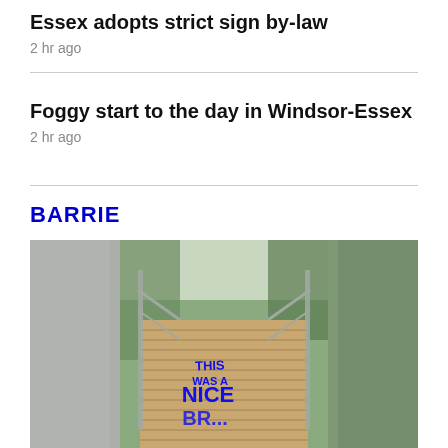Essex adopts strict sign by-law
2 hr ago
Foggy start to the day in Windsor-Essex
2 hr ago
BARRIE
[Figure (photo): A wooden boardwalk/bridge with metal railings, covered in blue graffiti text including the word 'NICE'. The photo is slightly blurred at the edges. Green vegetation visible on the sides.]